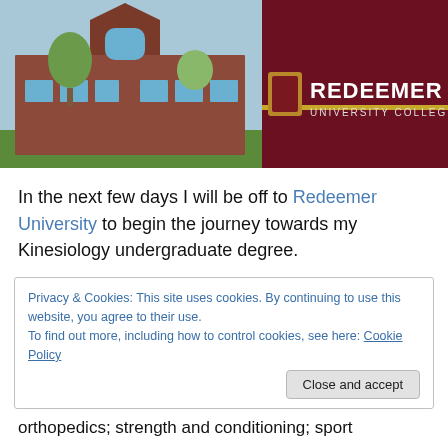[Figure (photo): Split image showing a red brick university building on the left with trees, and the Redeemer University College logo/sign on a dark red background on the right.]
In the next few days I will be off to Redeemer University to begin the journey towards my Kinesiology undergraduate degree.
Privacy & Cookies: This site uses cookies. By continuing to use this website, you agree to their use.
To find out more, including how to control cookies, see here: Cookie Policy
Close and accept
orthopedics; strength and conditioning; sport